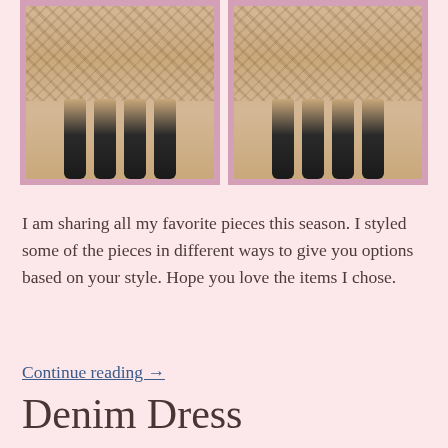[Figure (photo): Two side-by-side photos of women wearing leopard print dresses with black knee-high boots, taken in a store setting]
I am sharing all my favorite pieces this season. I styled some of the pieces in different ways to give you options based on your style. Hope you love the items I chose.
Continue reading →
Denim Dress